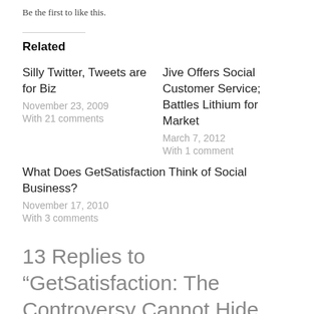Be the first to like this.
Related
Silly Twitter, Tweets are for Biz
November 23, 2009
With 21 comments
Jive Offers Social Customer Service; Battles Lithium for Market
March 7, 2012
With 1 comment
What Does GetSatisfaction Think of Social Business?
November 17, 2010
With 3 comments
13 Replies to “GetSatisfaction: The Controversy Cannot Hide The Facts”